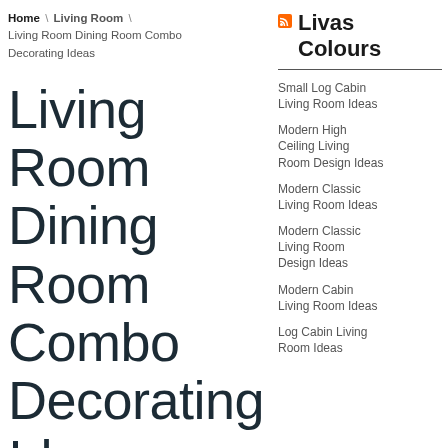Home \ Living Room \ Living Room Dining Room Combo Decorating Ideas
Living Room Dining Room Combo Decorating Ideas
Livas Colours
Small Log Cabin Living Room Ideas
Modern High Ceiling Living Room Design Ideas
Modern Classic Living Room Ideas
Modern Classic Living Room Design Ideas
Modern Cabin Living Room Ideas
Log Cabin Living Room Ideas